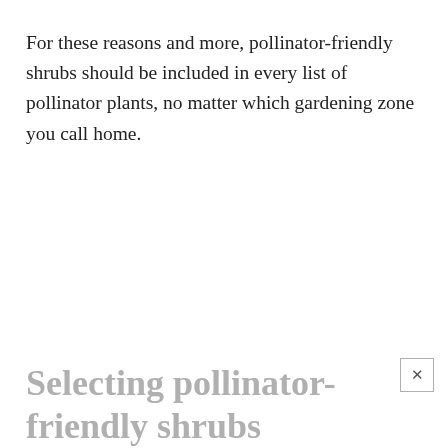For these reasons and more, pollinator-friendly shrubs should be included in every list of pollinator plants, no matter which gardening zone you call home.
Selecting pollinator-friendly shrubs